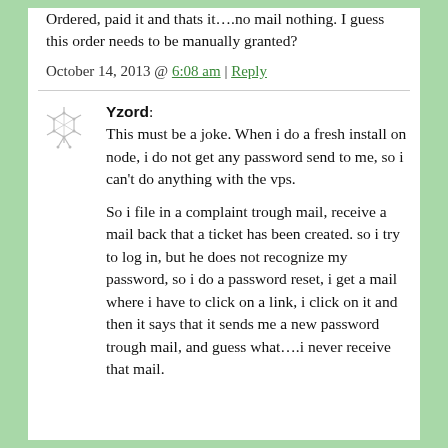Ordered, paid it and thats it….no mail nothing. I guess this order needs to be manually granted?
October 14, 2013 @ 6:08 am | Reply
Yzord: This must be a joke. When i do a fresh install on node, i do not get any password send to me, so i can't do anything with the vps. So i file in a complaint trough mail, receive a mail back that a ticket has been created. so i try to log in, but he does not recognize my password, so i do a password reset, i get a mail where i have to click on a link, i click on it and then it says that it sends me a new password trough mail, and guess what….i never receive that mail.